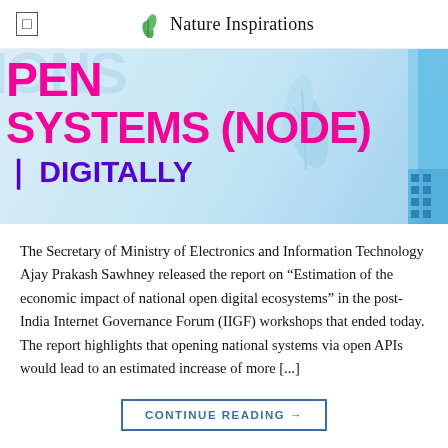Nature Inspirations
[Figure (illustration): Website banner with large pink bold text reading 'PEN SYSTEMS (NODE)' and purple bold text 'DIGITALLY', on a light blue background with leaf and blue geometric decorations]
The Secretary of Ministry of Electronics and Information Technology Ajay Prakash Sawhney released the report on “Estimation of the economic impact of national open digital ecosystems” in the post-India Internet Governance Forum (IIGF) workshops that ended today. The report highlights that opening national systems via open APIs would lead to an estimated increase of more [...]
CONTINUE READING →